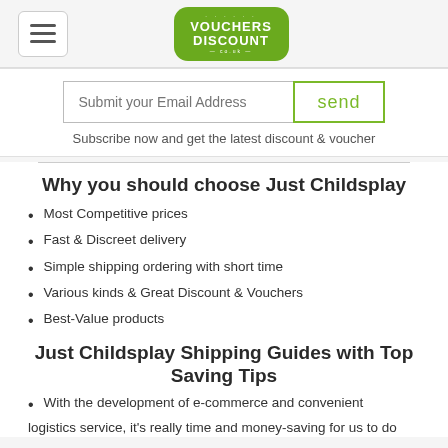Vouchers Discount Co.UK — navigation header with logo
Submit your Email Address  send
Subscribe now and get the latest discount & voucher
Why you should choose Just Childsplay
Most Competitive prices
Fast & Discreet delivery
Simple shipping ordering with short time
Various kinds & Great Discount & Vouchers
Best-Value products
Just Childsplay Shipping Guides with Top Saving Tips
With the development of e-commerce and convenient logistics service, it's really time and money-saving for us to do